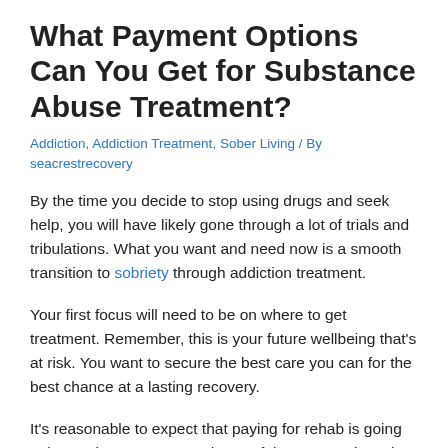What Payment Options Can You Get for Substance Abuse Treatment?
Addiction, Addiction Treatment, Sober Living / By seacrestrecovery
By the time you decide to stop using drugs and seek help, you will have likely gone through a lot of trials and tribulations. What you want and need now is a smooth transition to sobriety through addiction treatment.
Your first focus will need to be on where to get treatment. Remember, this is your future wellbeing that’s at risk. You want to secure the best care you can for the best chance at a lasting recovery.
It’s reasonable to expect that paying for rehab is going to be a primary concern. That’s a fair concern given the likelihood you are